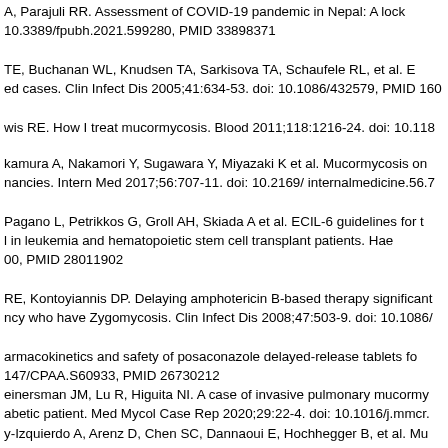A, Parajuli RR. Assessment of COVID-19 pandemic in Nepal: A lock 10.3389/fpubh.2021.599280, PMID 33898371
TE, Buchanan WL, Knudsen TA, Sarkisova TA, Schaufele RL, et al. E ed cases. Clin Infect Dis 2005;41:634-53. doi: 10.1086/432579, PMID 160
wis RE. How I treat mucormycosis. Blood 2011;118:1216-24. doi: 10.118
kamura A, Nakamori Y, Sugawara Y, Miyazaki K et al. Mucormycosis on nancies. Intern Med 2017;56:707-11. doi: 10.2169/ internalmedicine.56.7
Pagano L, Petrikkos G, Groll AH, Skiada A et al. ECIL-6 guidelines for t l in leukemia and hematopoietic stem cell transplant patients. Hae 00, PMID 28011902
RE, Kontoyiannis DP. Delaying amphotericin B-based therapy significant ncy who have Zygomycosis. Clin Infect Dis 2008;47:503-9. doi: 10.1086/
armacokinetics and safety of posaconazole delayed-release tablets fo 147/CPAA.S60933, PMID 26730212
einersman JM, Lu R, Higuita NI. A case of invasive pulmonary mucormy abetic patient. Med Mycol Case Rep 2020;29:22-4. doi: 10.1016/j.mmcr.
y-Izquierdo A, Arenz D, Chen SC, Dannaoui E, Hochhegger B, et al. Mu mucormycosis: An initiative of the European confederation of medical